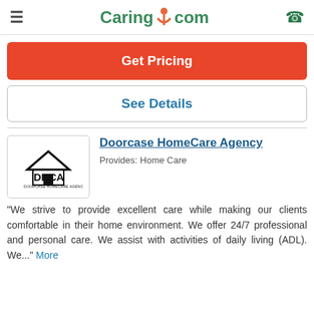Caring.com
Get Pricing
See Details
[Figure (logo): Doorcase HomeCare Agency logo with house and DHCA text]
Doorcase HomeCare Agency
Provides: Home Care
"We strive to provide excellent care while making our clients comfortable in their home environment. We offer 24/7 professional and personal care. We assist with activities of daily living (ADL). We..." More